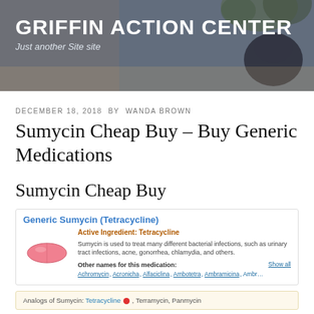GRIFFIN ACTION CENTER
Just another Site site
DECEMBER 18, 2018 BY WANDA BROWN
Sumycin Cheap Buy – Buy Generic Medications
Sumycin Cheap Buy
[Figure (infographic): Drug info box for Generic Sumycin (Tetracycline) with pink pill image, active ingredient Tetracycline, brief description of Sumycin uses, other names listed as Achromycin, Acronicha, Alfaciclina, Ambotetra, Ambramicina, Ambr... with Show all link. Below: Analogs of Sumycin: Tetracycline, Terramycin, Panmycin]